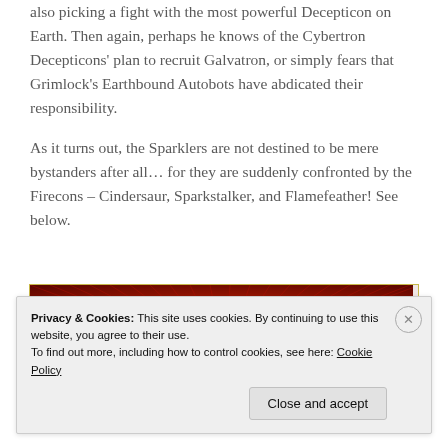also picking a fight with the most powerful Decepticon on Earth. Then again, perhaps he knows of the Cybertron Decepticons' plan to recruit Galvatron, or simply fears that Grimlock's Earthbound Autobots have abdicated their responsibility.
As it turns out, the Sparklers are not destined to be mere bystanders after all… for they are suddenly confronted by the Firecons – Cindersaur, Sparkstalker, and Flamefeather! See below.
[Figure (illustration): Partial view of a comic book panel showing a fiery orange, red, and yellow radial burst pattern suggestive of an explosion or energy effect.]
Privacy & Cookies: This site uses cookies. By continuing to use this website, you agree to their use. To find out more, including how to control cookies, see here: Cookie Policy
Close and accept